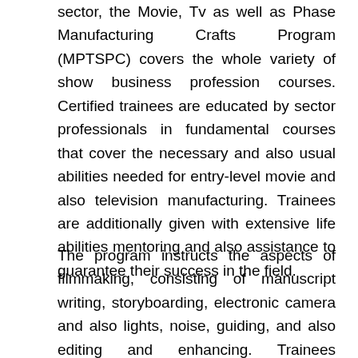sector, the Movie, Tv as well as Phase Manufacturing Crafts Program (MPTSPC) covers the whole variety of show business profession courses. Certified trainees are educated by sector professionals in fundamental courses that cover the necessary and also usual abilities needed for entry-level movie and also television manufacturing. Trainees are additionally given with extensive life abilities mentoring and also assistance to guarantee their success in the field.
The program instructs the aspects of filmmaking, consisting of manuscript writing, storyboarding, electronic camera and also lights, noise, guiding, and also editing and enhancing. Trainees additionally find out just how to establish and also fire their very own movies. If you're looking for an extra specific training program, look for a program in movie manufacturing